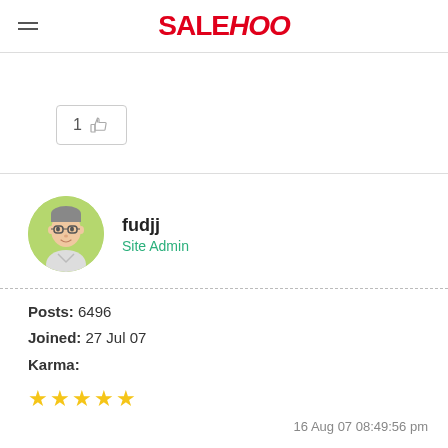SALEHOO
[Figure (other): Like button with thumbs up icon showing count of 1]
[Figure (illustration): User avatar: cartoon illustration of a person with glasses on a green circle background]
fudjj
Site Admin
Posts: 6496
Joined: 27 Jul 07
Karma:
★★★★★
16 Aug 07 08:49:56 pm